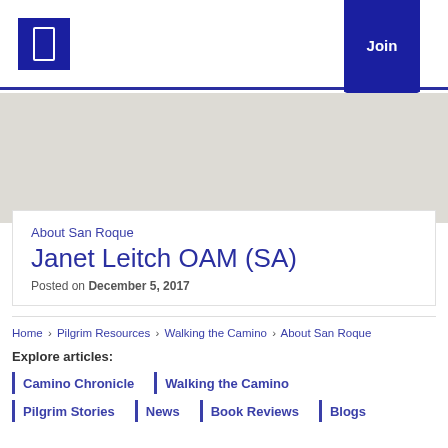Join
[Figure (screenshot): Gray hero banner area below navigation]
About San Roque
Janet Leitch OAM (SA)
Posted on December 5, 2017
Home › Pilgrim Resources › Walking the Camino › About San Roque
Explore articles:
Camino Chronicle
Walking the Camino
Pilgrim Stories
News
Book Reviews
Blogs